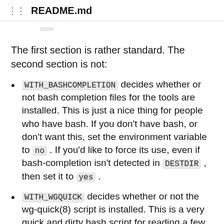README.md
The first section is rather standard. The second section is not:
WITH_BASHCOMPLETION decides whether or not bash completion files for the tools are installed. This is just a nice thing for people who have bash. If you don't have bash, or don't want this, set the environment variable to no. If you'd like to force its use, even if bash-completion isn't detected in DESTDIR, then set it to yes.
WITH_WGQUICK decides whether or not the wg-quick(8) script is installed. This is a very quick and dirty bash script for reading a few extra variables from wg(8)-style configuration files, and automatically configures the interface. If you